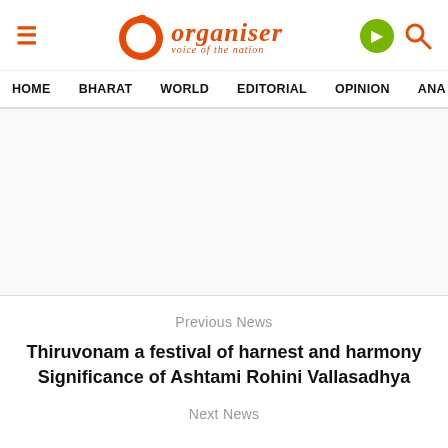Organiser – voice of the nation
HOME   BHARAT   WORLD   EDITORIAL   OPINION   ANA
Previous News
Thiruvonam a festival of harnest and harmony Significance of Ashtami Rohini Vallasadhya
Next News